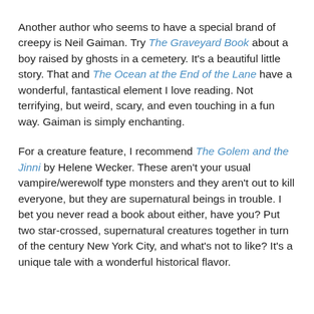Another author who seems to have a special brand of creepy is Neil Gaiman. Try The Graveyard Book about a boy raised by ghosts in a cemetery. It's a beautiful little story. That and The Ocean at the End of the Lane have a wonderful, fantastical element I love reading. Not terrifying, but weird, scary, and even touching in a fun way. Gaiman is simply enchanting.
For a creature feature, I recommend The Golem and the Jinni by Helene Wecker. These aren't your usual vampire/werewolf type monsters and they aren't out to kill everyone, but they are supernatural beings in trouble. I bet you never read a book about either, have you? Put two star-crossed, supernatural creatures together in turn of the century New York City, and what's not to like? It's a unique tale with a wonderful historical flavor.